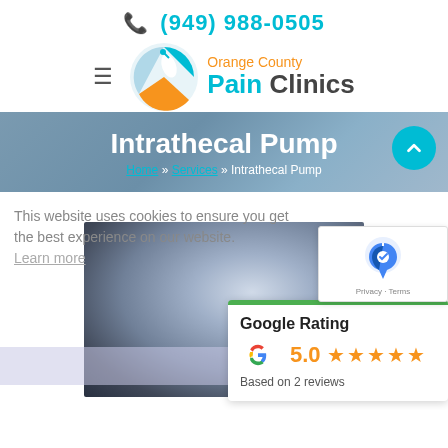(949) 988-0505
[Figure (logo): Orange County Pain Clinics logo with circular icon and hamburger menu]
Intrathecal Pump
Home » Services » Intrathecal Pump
[Figure (screenshot): reCAPTCHA widget overlay in top right]
This website uses cookies to ensure you get the best experience on our website. Learn more
[Figure (photo): X-ray image of spine/intrathecal pump]
Accept
[Figure (infographic): Google Rating widget showing 5.0 stars based on 2 reviews]